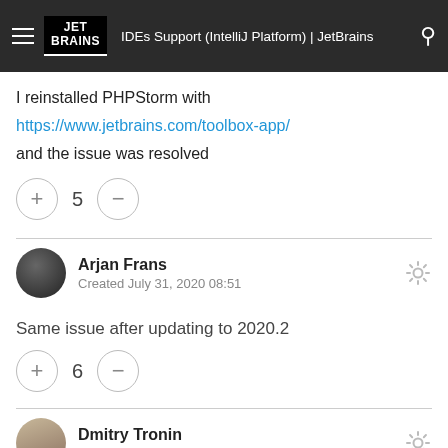IDEs Support (IntelliJ Platform) | JetBrains
I reinstalled PHPStorm with https://www.jetbrains.com/toolbox-app/ and the issue was resolved
+  5  −
Arjan Frans
Created July 31, 2020 08:51
Same issue after updating to 2020.2
+  6  −
Dmitry Tronin
Created July 31, 2020 08:55